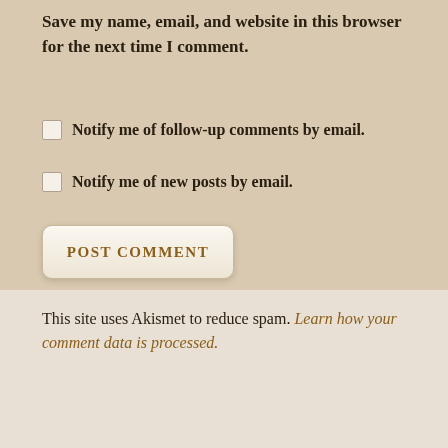Save my name, email, and website in this browser for the next time I comment.
Notify me of follow-up comments by email.
Notify me of new posts by email.
POST COMMENT
This site uses Akismet to reduce spam. Learn how your comment data is processed.